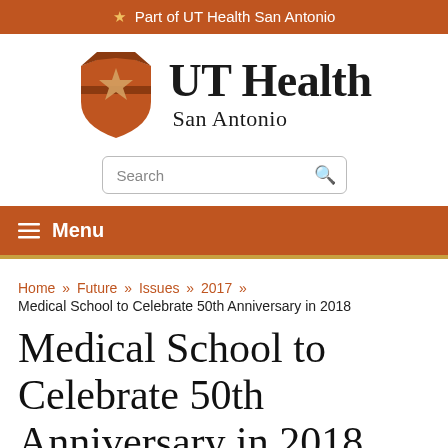★ Part of UT Health San Antonio
[Figure (logo): UT Health San Antonio logo with orange shield containing a star and the text UT Health San Antonio]
[Figure (other): Search input box with magnifying glass icon]
≡ Menu
Home » Future » Issues » 2017 » Medical School to Celebrate 50th Anniversary in 2018
Medical School to Celebrate 50th Anniversary in 2018